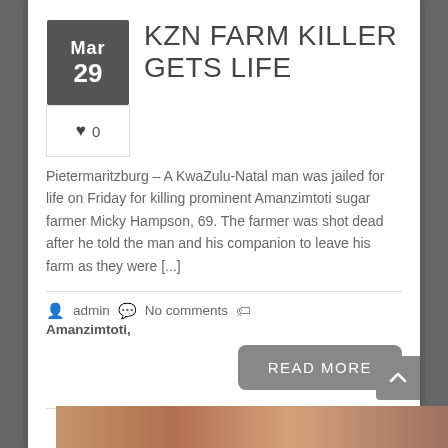KZN FARM KILLER GETS LIFE
Pietermaritzburg – A KwaZulu-Natal man was jailed for life on Friday for killing prominent Amanzimtoti sugar farmer Micky Hampson, 69. The farmer was shot dead after he told the man and his companion to leave his farm as they were [...]
admin  No comments  Amanzimtoti,
READ MORE